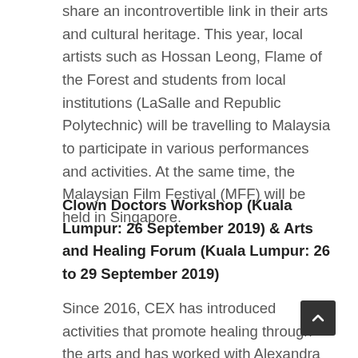share an incontrovertible link in their arts and cultural heritage. This year, local artists such as Hossan Leong, Flame of the Forest and students from local institutions (LaSalle and Republic Polytechnic) will be travelling to Malaysia to participate in various performances and activities. At the same time, the Malaysian Film Festival (MFF) will be held in Singapore.
Clown Doctors Workshop (Kuala Lumpur: 26 September 2019) & Arts and Healing Forum (Kuala Lumpur: 26 to 29 September 2019)
Since 2016, CEX has introduced activities that promote healing through the arts and has worked with Alexandra Hospital, Ng Teng Fong General Hospital and Hospital Kuala Lumpur on art therapy programmes. CEX will be continuing its art therapy efforts this year in Hospital Kuala Lumpur with Clown Doctors Singapore to bring